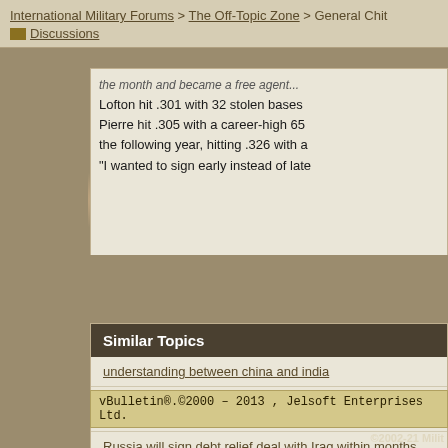International Military Forums > The Off-Topic Zone > General Chit Discussions
Lofton hit .301 with 32 stolen bases Pierre hit .305 with a career-high 65 the following year, hitting .326 with a "I wanted to sign early instead of late
Similar Topics
understanding between china and india
Alou and Mets close to one-year deal worth about $8 million to $9 million
Russia will sign debt relief deal with Iraq within months
Islanders sign goalie DiPietro to record 15-year deal
why are we wasting time in iraq
vBulletin®.©2000 – 2013 , Jelsoft Enterprises Ltd.
©2002-21 Milit